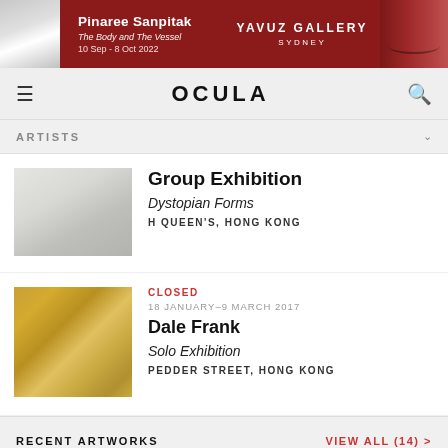[Figure (photo): Yavuz Gallery advertisement banner featuring Pinaree Sanpitak exhibition 'The Body and The Vessel', 10 Sep - 8 Oct 2022, with red background and partial face images]
OCULA
ARTISTS
[Figure (photo): Gallery interior with framed artworks on white walls]
Group Exhibition
Dystopian Forms
H QUEEN'S, HONG KONG
[Figure (photo): Textured golden-brown artwork by Dale Frank]
CLOSED
18 JANUARY–9 MARCH 2017
Dale Frank
Solo Exhibition
PEDDER STREET, HONG KONG
RECENT ARTWORKS
VIEW ALL (14) >